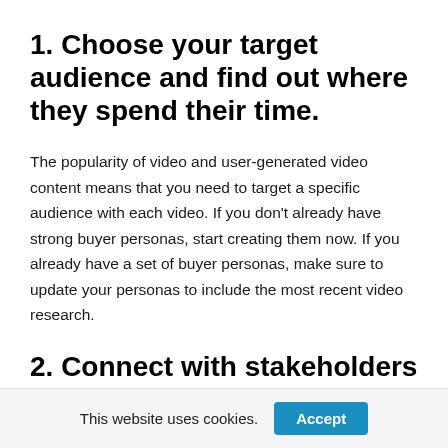1. Choose your target audience and find out where they spend their time.
The popularity of video and user-generated video content means that you need to target a specific audience with each video. If you don't already have strong buyer personas, start creating them now. If you already have a set of buyer personas, make sure to update your personas to include the most recent video research.
2. Connect with stakeholders to align on a plan for the video.
This website uses cookies.